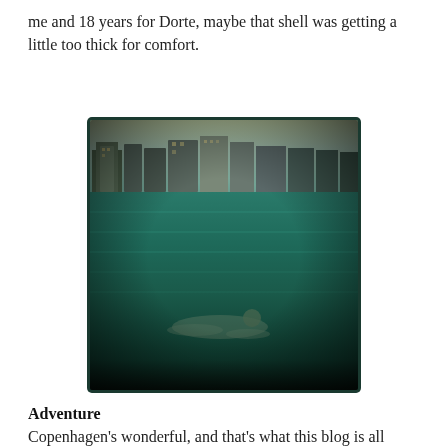me and 18 years for Dorte, maybe that shell was getting a little too thick for comfort.
[Figure (photo): A person swimming in a large urban harbour or lake, with modern apartment buildings visible on the far shoreline. The photo has a vintage/Instagram-style processing with heavy vignetting and a teal-green color tone.]
Adventure
Copenhagen's wonderful, and that's what this blog is all